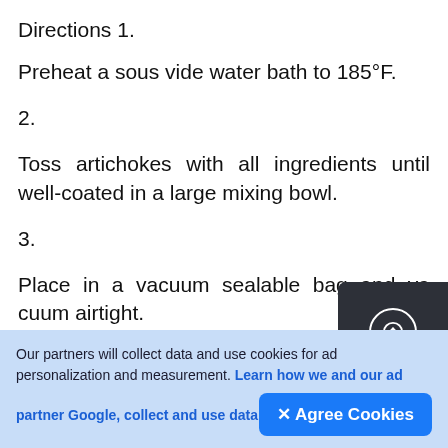Directions 1.
Preheat a sous vide water bath to 185°F.
2.
Toss artichokes with all ingredients until well-coated in a large mixing bowl.
3.
Place in a vacuum sealable bag and vacuum airtight.
4.
Our partners will collect data and use cookies for ad personalization and measurement. Learn how we and our ad partner Google, collect and use data
✕ Agree Cookies